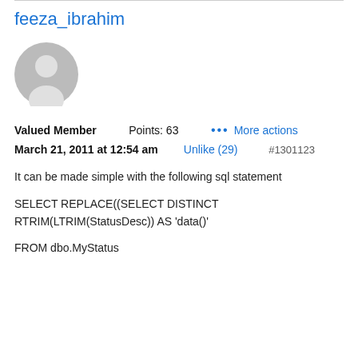feeza_ibrahim
[Figure (illustration): Default avatar: grey circle with a person silhouette icon]
Valued Member
Points: 63
••• More actions
March 21, 2011 at 12:54 am    Unlike (29)    #1301123
It can be made simple with the following sql statement
SELECT REPLACE((SELECT DISTINCT RTRIM(LTRIM(StatusDesc)) AS 'data()'
FROM dbo.MyStatus